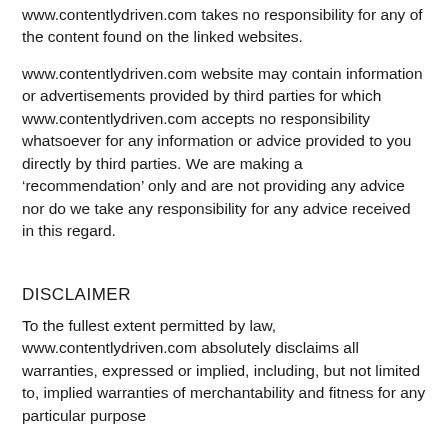www.contentlydriven.com takes no responsibility for any of the content found on the linked websites.
www.contentlydriven.com website may contain information or advertisements provided by third parties for which www.contentlydriven.com accepts no responsibility whatsoever for any information or advice provided to you directly by third parties. We are making a ‘recommendation’ only and are not providing any advice nor do we take any responsibility for any advice received in this regard.
DISCLAIMER
To the fullest extent permitted by law, www.contentlydriven.com absolutely disclaims all warranties, expressed or implied, including, but not limited to, implied warranties of merchantability and fitness for any particular purpose